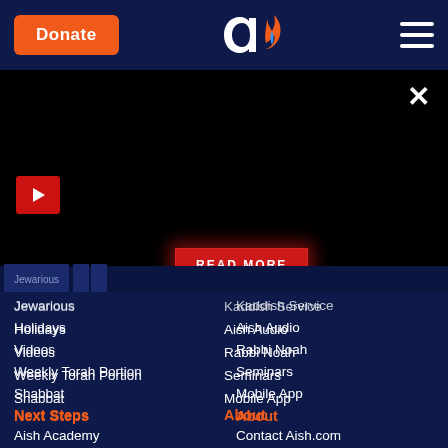Donate | Aish.com Logo | Menu
[Figure (screenshot): Black video player area with play button (red triangle icon), READ MORE red button, and close X button]
Jewarious
Kaddish Service
Holidays
Aish Audio
Videos
Rabbi Noah
Weekly Torah Portion
Seminars
Shabbat
Mobile App
Next Steps
About
Aish Academy
Contact Aish.com
One-on-One Learning
Contact Aish Jerusalem
Israel Programs
About Aish.com
About Aish Global